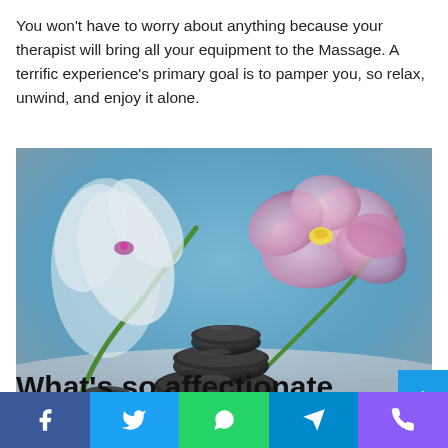You won't have to worry about anything because your therapist will bring all your equipment to the Massage. A terrific experience's primary goal is to pamper you, so relax, unwind, and enjoy it alone.
[Figure (photo): Spa-themed photo showing stacked black massage stones and pink orchid flowers against a soft blue background.]
What's so affectionate about...